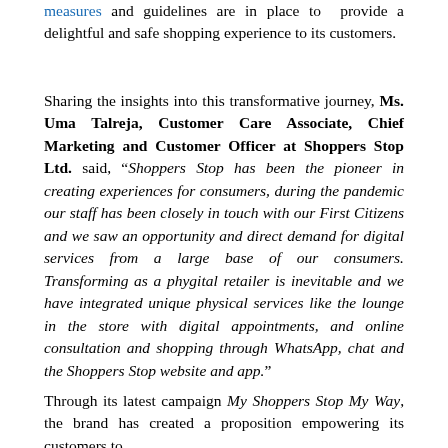measures and guidelines are in place to provide a delightful and safe shopping experience to its customers.
Sharing the insights into this transformative journey, Ms. Uma Talreja, Customer Care Associate, Chief Marketing and Customer Officer at Shoppers Stop Ltd. said, "Shoppers Stop has been the pioneer in creating experiences for consumers, during the pandemic our staff has been closely in touch with our First Citizens and we saw an opportunity and direct demand for digital services from a large base of our consumers. Transforming as a phygital retailer is inevitable and we have integrated unique physical services like the lounge in the store with digital appointments, and online consultation and shopping through WhatsApp, chat and the Shoppers Stop website and app."
Through its latest campaign My Shoppers Stop My Way, the brand has created a proposition empowering its customers to